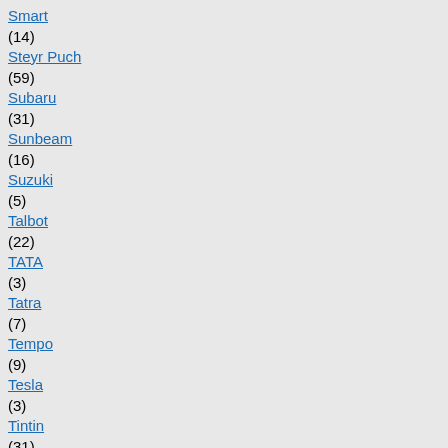Smart (14)
Steyr Puch (59)
Subaru (31)
Sunbeam (16)
Suzuki (5)
Talbot (22)
TATA (3)
Tatra (7)
Tempo (9)
Tesla (3)
Tintin (31)
Toyota - Lexus-> (124)
Tractors and Trailers (68)
Train (8)
Triumph (29)
Truck (117)
TVR (1)
US - Cars-> (506)
Velorex (3)
Venturi (1)
Voisin (2)
Volvo - DAF (132)
VW-> (523)
BMW M4 DTM 2020 Lucas AUER Hockenheim TEAM BMW RMR 1:43
69,00 EURO
BMW 20... Esquife... winner 1... Interlagos... Cay...
69,0...
[Figure (photo): BMW E30 M3 1988 DTM race car model, yellow/black livery number 51]
BMW E30 M3 1988 DTM Kurt Thiim 1:18 Solido
59,00 EURO
BMW E34 1988 dar...
189,...
[Figure (photo): BMW E30 M3 1989 Rallye Tour de Corse, red/white Castrol livery]
BMW E30 M3 1989 Rallye Tour de Corse François CHATRIOT / Michel PERIN 1:18
299,00 EURO
BMW Hu... 1964 silv...
89,0...